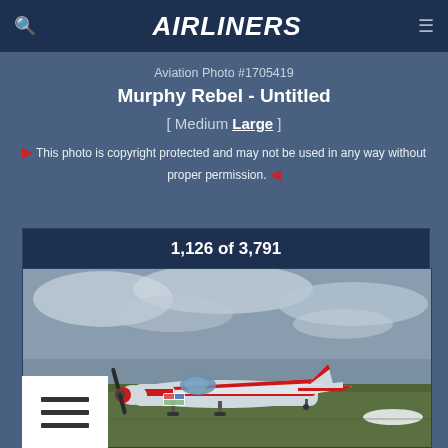AIRLINERS
Aviation Photo #1705419
Murphy Rebel - Untitled
[ Medium Large ]
This photo is copyright protected and may not be used in any way without proper permission.
1,126 of 3,791
[Figure (photo): A red and white Murphy Rebel small propeller aircraft parked on grass at an airfield, with overcast sky in the background.]